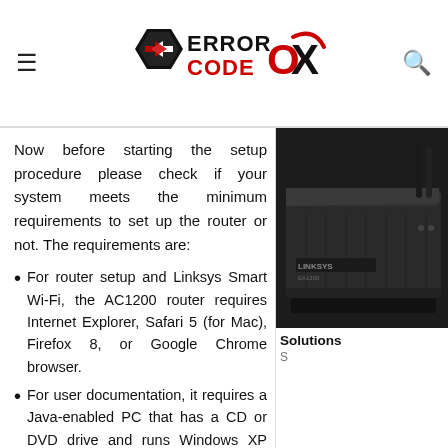ERROR CODE OX (logo)
Now before starting the setup procedure please check if your system meets the minimum requirements to set up the router or not. The requirements are:
For router setup and Linksys Smart Wi-Fi, the AC1200 router requires Internet Explorer, Safari 5 (for Mac), Firefox 8, or Google Chrome browser.
For user documentation, it requires a Java-enabled PC that has a CD or DVD drive and runs Windows XP SP3, Windows Vista SP1, Windows 7, or Windows 8; or a Wi-Fi-enabled...
[Figure (photo): Photo of Linksys AC1200 router, dark black device with angled view]
Solutions